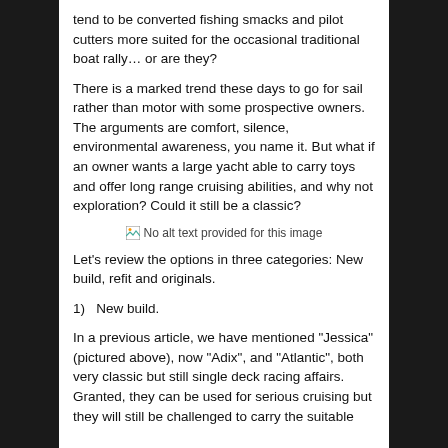tend to be converted fishing smacks and pilot cutters more suited for the occasional traditional boat rally… or are they?
There is a marked trend these days to go for sail rather than motor with some prospective owners. The arguments are comfort, silence, environmental awareness, you name it. But what if an owner wants a large yacht able to carry toys and offer long range cruising abilities, and why not exploration? Could it still be a classic?
[Figure (photo): No alt text provided for this image]
Let's review the options in three categories: New build, refit and originals.
1)   New build.
In a previous article, we have mentioned "Jessica" (pictured above), now "Adix", and "Atlantic", both very classic but still single deck racing affairs. Granted, they can be used for serious cruising but they will still be challenged to carry the suitable